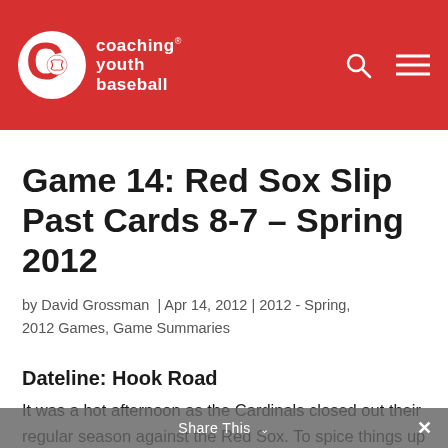coaching youth baseball
Game 14: Red Sox Slip Past Cards 8-7 – Spring 2012
by David Grossman | Apr 14, 2012 | 2012 - Spring, 2012 Games, Game Summaries
Dateline: Hook Road
It was a hot afternoon as the Cardinals closed out their regular season against the Red Sox. To spice things up and to balance out the at bats, Coach